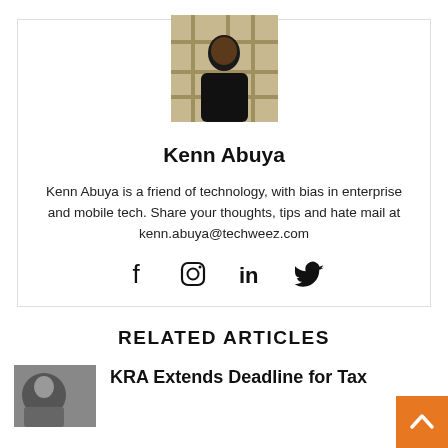[Figure (photo): Portrait photo of Kenn Abuya, a man in a dark sweater seated in front of a wooden background]
Kenn Abuya
Kenn Abuya is a friend of technology, with bias in enterprise and mobile tech. Share your thoughts, tips and hate mail at kenn.abuya@techweez.com
[Figure (infographic): Social media icons: Facebook, Instagram, LinkedIn, Twitter]
RELATED ARTICLES
[Figure (photo): Thumbnail image for KRA article]
KRA Extends Deadline for Tax